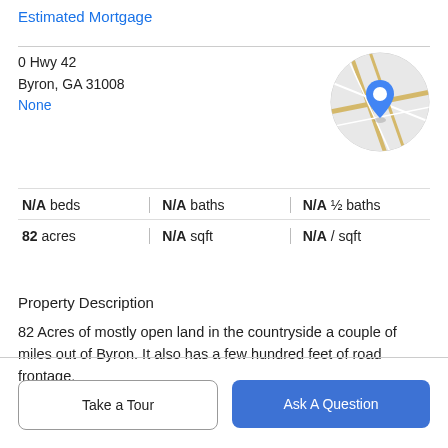Estimated Mortgage
0 Hwy 42
Byron, GA 31008
None
[Figure (map): Circular map thumbnail showing a street map with a blue location pin marker in the center]
N/A beds | N/A baths | N/A ½ baths
82 acres | N/A sqft | N/A / sqft
Property Description
82 Acres of mostly open land in the countryside a couple of miles out of Byron. It also has a few hundred feet of road frontage.
Take a Tour
Ask A Question